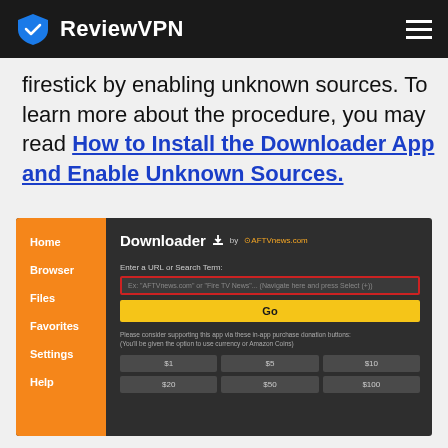ReviewVPN
firestick by enabling unknown sources. To learn more about the procedure, you may read How to Install the Downloader App and Enable Unknown Sources.
[Figure (screenshot): Screenshot of the Downloader app interface by AFTVnews.com, showing a dark-themed UI with an orange left sidebar containing navigation items (Home, Browser, Files, Favorites, Settings, Help), a URL/search input field with red border, a yellow Go button, donation support text, and donation buttons for $1, $5, $10, $20, $50, $100.]